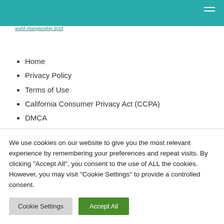world championship 2018
Home
Privacy Policy
Terms of Use
California Consumer Privacy Act (CCPA)
DMCA
Cookie Privacy Policy
We use cookies on our website to give you the most relevant experience by remembering your preferences and repeat visits. By clicking "Accept All", you consent to the use of ALL the cookies. However, you may visit "Cookie Settings" to provide a controlled consent.
Cookie Settings | Accept All